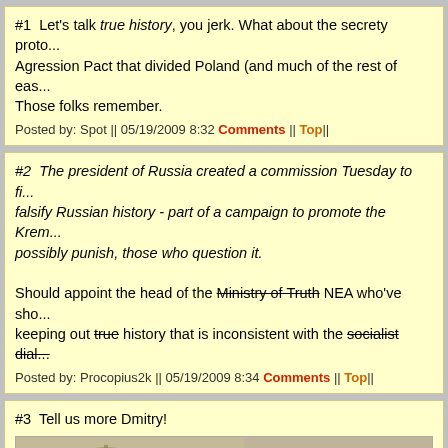#1  Let's talk true history, you jerk. What about the secrety proto... Agression Pact that divided Poland (and much of the rest of eas... Those folks remember.
Posted by: Spot || 05/19/2009 8:32 Comments || Top||
#2  The president of Russia created a commission Tuesday to fi... falsify Russian history - part of a campaign to promote the Krem... possibly punish, those who question it.

Should appoint the head of the Ministry of Truth NEA who've sho... keeping out true history that is inconsistent with the socialist dial...
Posted by: Procopius2k || 05/19/2009 8:34 Comments || Top||
#3  Tell us more Dmitry!
[Figure (photo): Two side-by-side sepia-toned historical photographs showing groups of men in early 20th century attire, likely Soviet-era officials]